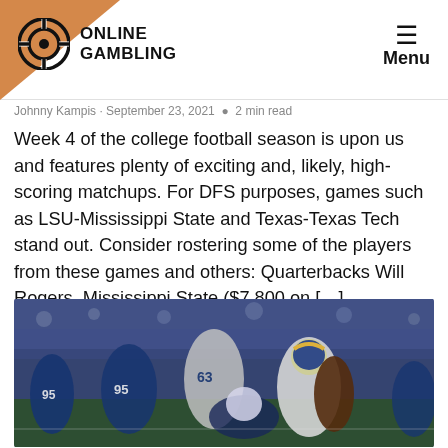Online Gambling — Menu
Johnny Kampis · September 23, 2021 · 2 min read
Week 4 of the college football season is upon us and features plenty of exciting and, likely, high-scoring matchups. For DFS purposes, games such as LSU-Mississippi State and Texas-Texas Tech stand out. Consider rostering some of the players from these games and others: Quarterbacks Will Rogers, Mississippi State ($7,800 on […]
[Figure (photo): Football players from the Los Angeles Rams and Indianapolis Colts in action on the field during an NFL game.]